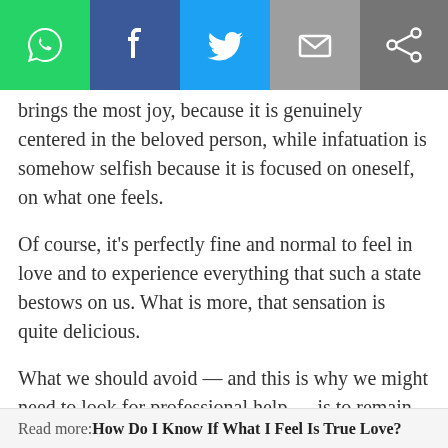[Figure (screenshot): Social media share toolbar with WhatsApp (green), Facebook (blue), Twitter (light blue), Email (grey), and Share (dark grey) buttons]
brings the most joy, because it is genuinely centered in the beloved person, while infatuation is somehow selfish because it is focused on oneself, on what one feels.
Of course, it’s perfectly fine and normal to feel in love and to experience everything that such a state bestows on us. What is more, that sensation is quite delicious.
What we should avoid — and this is why we might need to look for professional help — is to remain stuck there, wanting to live eternally euphoric and not letting ourselves move on to a deeper form of love. That is, being addicted to romantic love.
Read more: How Do I Know If What I Feel Is True Love?